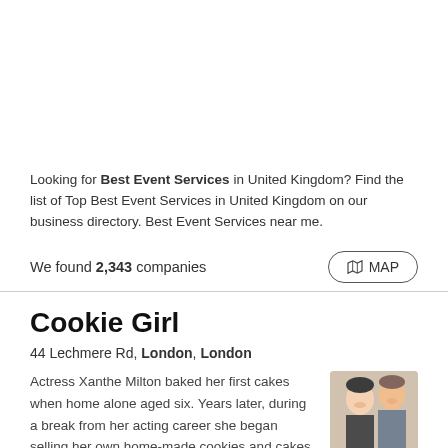Looking for Best Event Services in United Kingdom? Find the list of Top Best Event Services in United Kingdom on our business directory. Best Event Services near me.
We found 2,343 companies
Cookie Girl
44 Lechmere Rd, London, London
Actress Xanthe Milton baked her first cakes when home alone aged six. Years later, during a break from her acting career she began selling her own home-made cookies and cakes at Portobello Market and ...
[Figure (photo): Photo of two women smiling, appearing to be baking or crafting together]